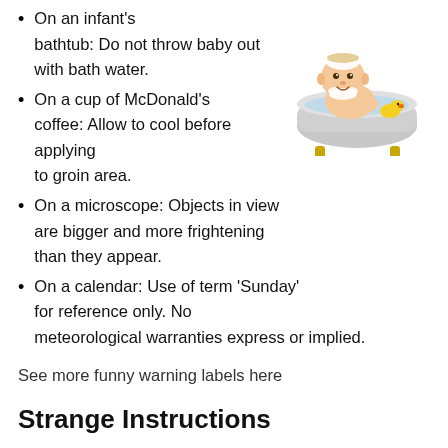On an infant's bathtub: Do not throw baby out with bath water.
[Figure (illustration): Cartoon baby in a bathtub with bubbles on head, bathtub has yellow feet]
On a cup of McDonald's coffee: Allow to cool before applying to groin area.
On a microscope: Objects in view are bigger and more frightening than they appear.
On a calendar: Use of term 'Sunday' for reference only. No meteorological warranties express or implied.
See more funny warning labels here
Strange Instructions